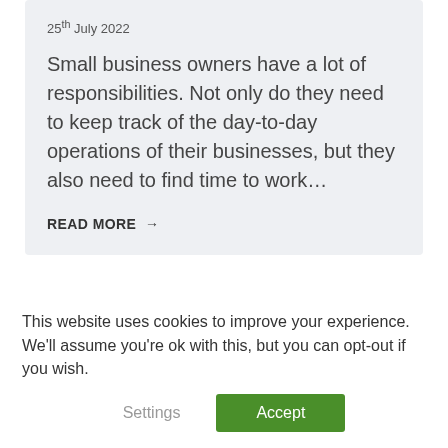25th July 2022
Small business owners have a lot of responsibilities. Not only do they need to keep track of the day-to-day operations of their businesses, but they also need to find time to work…
READ MORE →
This website uses cookies to improve your experience. We'll assume you're ok with this, but you can opt-out if you wish.
Settings
Accept